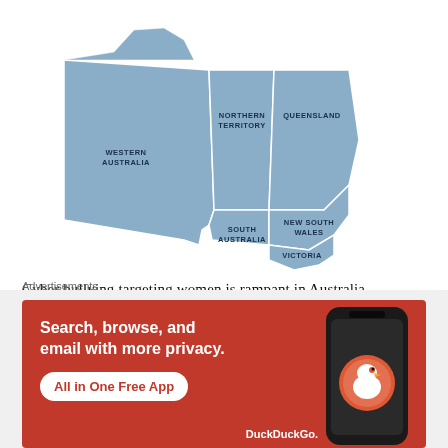[Figure (map): Map of Australia showing states and territories: Western Australia, Northern Territory, Queensland, South Australia, New South Wales, Victoria, and Tasmania (TAS) labeled.]
Cyber bullying targeting women is rampant in Australia. However, there are no universal legal definition of cyber bullying or misogynist bullying in Australia and as such, it has not received any favoured legal attention still now.
[Figure (screenshot): Advertisement for DuckDuckGo app. Orange background with white text: 'Search, browse, and email with more privacy. All in One Free App' with a phone graphic and DuckDuckGo logo/duck icon.]